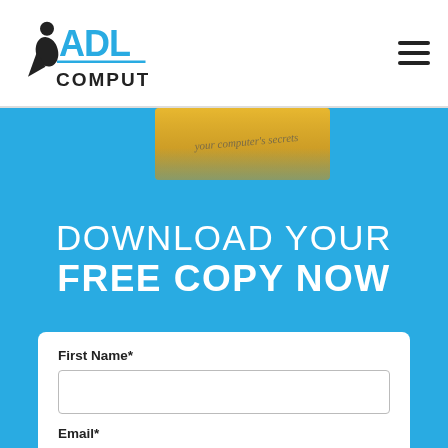ADL Computers logo and navigation menu
[Figure (photo): Partially visible book or product with yellow cover on blue background]
DOWNLOAD YOUR FREE COPY NOW
First Name*
Email*